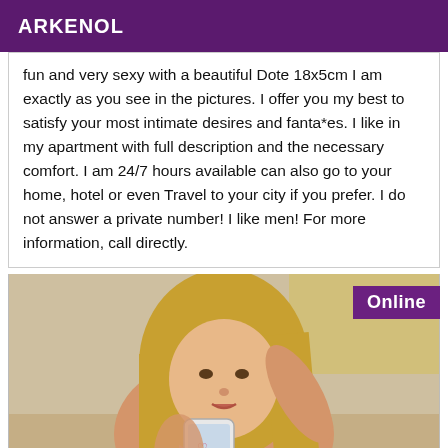ARKENOL
fun and very sexy with a beautiful Dote 18x5cm I am exactly as you see in the pictures. I offer you my best to satisfy your most intimate desires and fanta*es. I like in my apartment with full description and the necessary comfort. I am 24/7 hours available can also go to your home, hotel or even Travel to your city if you prefer. I do not answer a private number! I like men! For more information, call directly.
[Figure (photo): A blonde woman taking a selfie in a mirror, holding a phone with heart decorations on the case. An 'Online' badge appears in the top right corner.]